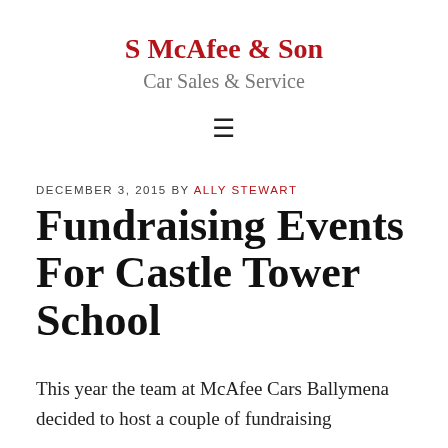S McAfee & Son
Car Sales & Service
[Figure (other): Hamburger menu icon (three horizontal lines)]
DECEMBER 3, 2015 BY ALLY STEWART
Fundraising Events For Castle Tower School
This year the team at McAfee Cars Ballymena decided to host a couple of fundraising